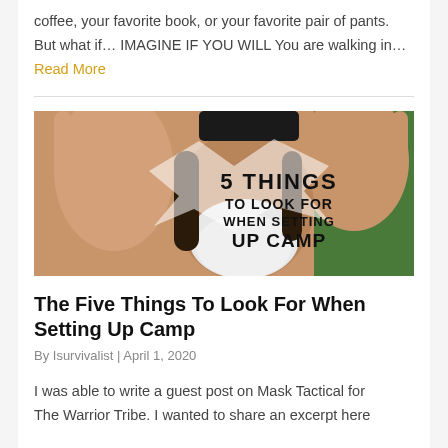coffee, your favorite book, or your favorite pair of pants. But what if… IMAGINE IF YOU WILL You are walking in… Read More
[Figure (photo): Photo of a bearded man with long hair raising both hands toward the camera, with overlaid text reading '5 THINGS TO LOOK FOR WHEN SETTING UP CAMP']
The Five Things To Look For When Setting Up Camp
By Isurvivalist | April 1, 2020
I was able to write a guest post on Mask Tactical for The Warrior Tribe. I wanted to share an excerpt here